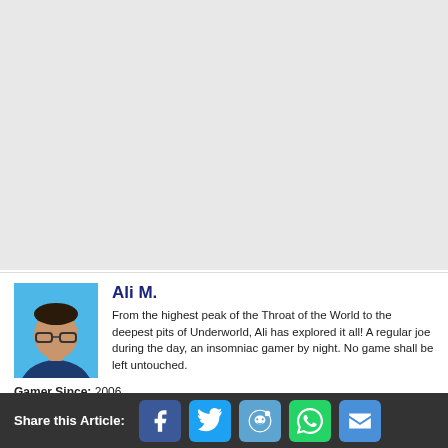[Figure (photo): Large gray placeholder image area occupying the top portion of the page]
Ali M.
From the highest peak of the Throat of the World to the deepest pits of Underworld, Ali has explored it all! A regular joe during the day, an insomniac gamer by night. No game shall be left untouched.
Gamer Since: 2006
Share this Article: [Facebook] [Twitter] [Reddit] [WhatsApp] [Email]